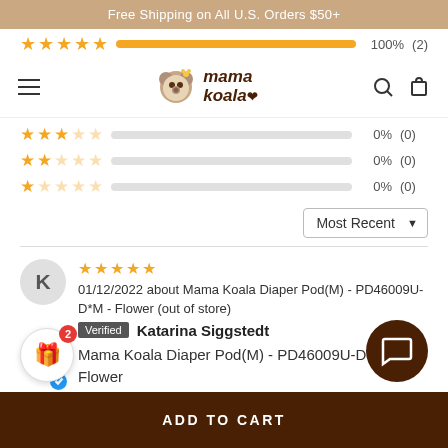Free Shipping on All U.S. Orders $50+
[Figure (logo): Mama Koala logo with koala bear icon]
0%  (0) — 2-star rating row
0%  (0) — 2-star rating row
0%  (0) — 1-star rating row
Sort: Most Recent
01/12/2022 about Mama Koala Diaper Pod(M) - PD46009U-D*M - Flower (out of store)
Verified  Katarina Siggstedt
Mama Koala Diaper Pod(M) - PD46009U-D*M - Flower